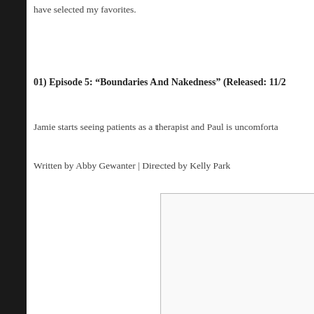have selected my favorites.
01) Episode 5: “Boundaries And Nakedness” (Released: 11/2
Jamie starts seeing patients as a therapist and Paul is uncomforta
Written by Abby Gewanter | Directed by Kelly Park
[Figure (other): Image box with border, content not visible]